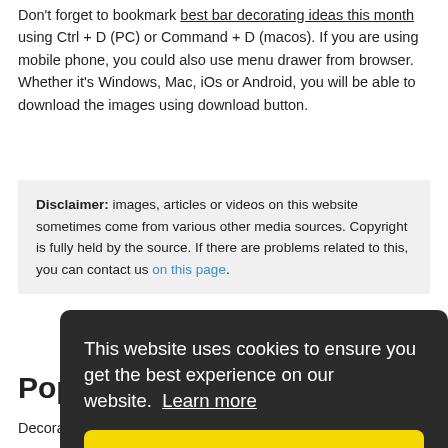Don't forget to bookmark best bar decorating ideas this month using Ctrl + D (PC) or Command + D (macos). If you are using mobile phone, you could also use menu drawer from browser. Whether it's Windows, Mac, iOs or Android, you will be able to download the images using download button.
Disclaimer: images, articles or videos on this website sometimes come from various other media sources. Copyright is fully held by the source. If there are problems related to this, you can contact us on this page.
Popular
Decorative Cake
Deco...
Deco...
Deco...
Entry...
This website uses cookies to ensure you get the best experience on our website. Learn more